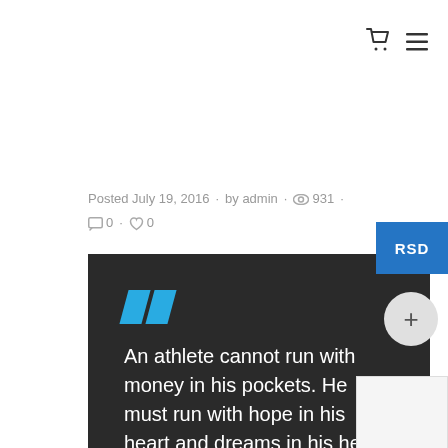🛒 ≡
Posted July 19, 2016 · by admin · 👁 931 · 💬 0 · ♡ 0
[Figure (other): Dark quote box with cyan double-slash quotation marks and white text reading: An athlete cannot run with money in his pockets. He must run with hope in his heart and dreams in his head.]